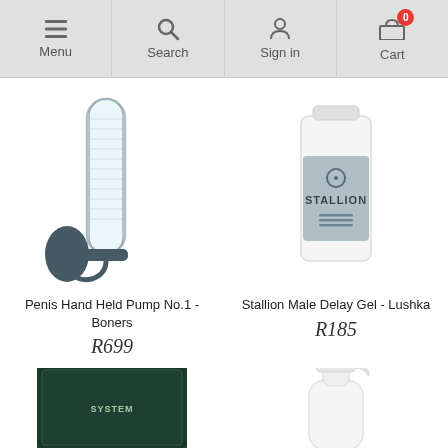Menu | Search | Sign in | Cart (0)
[Figure (photo): Penis Hand Held Pump No.1 - Boners product image showing a clear cylindrical pump with a dark blue hand bulb]
Penis Hand Held Pump No.1 - Boners
R699
[Figure (photo): Stallion Male Delay Gel - Lushka product image showing a white cylindrical bottle with grey label reading STALLION]
Stallion Male Delay Gel - Lushka
R185
[Figure (photo): Partial product image showing a dark green box (bottom of page, left column)]
[Figure (photo): Partial product image showing a white pump/dispenser bottle (bottom of page, right column)]